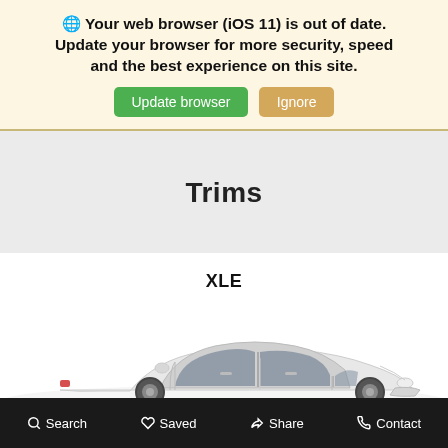🌐 Your web browser (iOS 11) is out of date. Update your browser for more security, speed and the best experience on this site. [Update browser] [Ignore]
Trims
XLE
[Figure (photo): Partial view of a white sedan car (Toyota Camry XLE or similar) from the side-front angle on a white background]
Search   Saved   Share   Contact